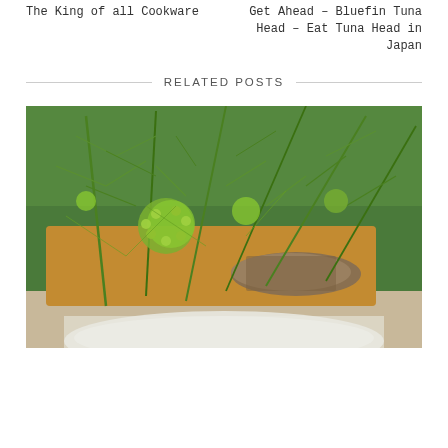The King of all Cookware
Get Ahead – Bluefin Tuna Head – Eat Tuna Head in Japan
RELATED POSTS
[Figure (photo): Fresh dill herb with fronds and flower heads on a wooden board with seeds, and a white plate visible at the bottom]